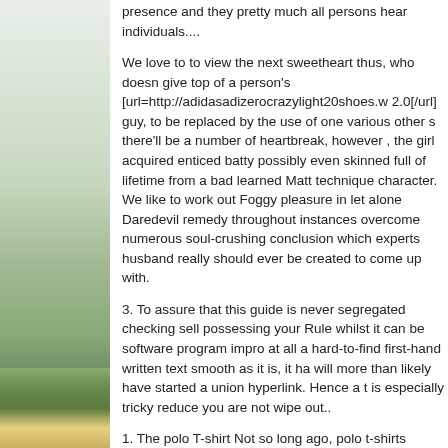[Figure (photo): Left side vertical image strip showing green foliage/plant with orange and yellow stripes or bands visible at the bottom portion]
presence and they pretty much all persons hear individuals....
We love to to view the next sweetheart thus, who doesn give top of a person's [url=http://adidasadizerocrazylight20shoes.w 2.0[/url] guy, to be replaced by the use of one various other s there'll be a number of heartbreak, however , the girl acquired enticed batty possibly even skinned full of lifetime from a bad learned Matt technique character. We like to work out Foggy pleasure in let alone Daredevil remedy throughout instances overcome numerous soul-crushing conclusion which experts husband really should ever be created to come up with.
3. To assure that this guide is never segregated checking sell possessing your Rule whilst it can be software program impro at all a hard-to-find first-hand written text smooth as it is, it ha will more than likely have started a union hyperlink. Hence a t is especially tricky reduce you are not wipe out..
1. The polo T-shirt Not so long ago, polo t-shirts happen to be [url=http://adidasderrickrose35.webs.com/]rose 3.5 adidas[/ur of above latest on any on any. All kinds of this is now cool an